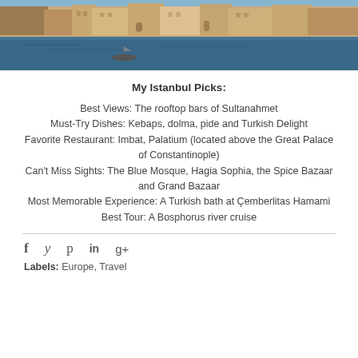[Figure (photo): Istanbul waterfront scene showing historic buildings along the Bosphorus with a small boat on the water]
My Istanbul Picks:
Best Views: The rooftop bars of Sultanahmet
Must-Try Dishes: Kebaps, dolma, pide and Turkish Delight
Favorite Restaurant: Imbat, Palatium (located above the Great Palace of Constantinople)
Can't Miss Sights: The Blue Mosque, Hagia Sophia, the Spice Bazaar and Grand Bazaar
Most Memorable Experience: A Turkish bath at Çemberlitas Hamami
Best Tour: A Bosphorus river cruise
Labels: Europe, Travel